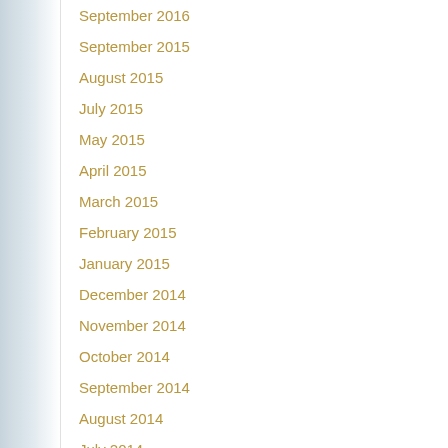September 2016
September 2015
August 2015
July 2015
May 2015
April 2015
March 2015
February 2015
January 2015
December 2014
November 2014
October 2014
September 2014
August 2014
July 2014
April 2014
March 2014